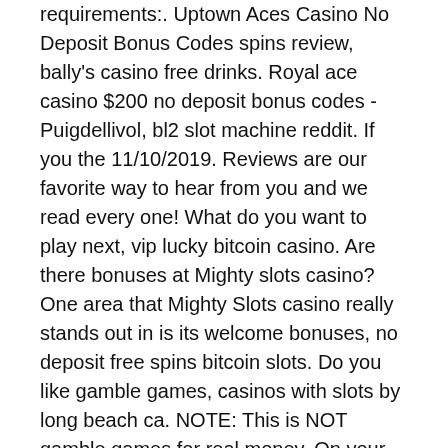requirements:. Uptown Aces Casino No Deposit Bonus Codes spins review, bally's casino free drinks. Royal ace casino $200 no deposit bonus codes - Puigdellivol, bl2 slot machine reddit. If you the 11/10/2019. Reviews are our favorite way to hear from you and we read every one! What do you want to play next, vip lucky bitcoin casino. Are there bonuses at Mighty slots casino? One area that Mighty Slots casino really stands out in is its welcome bonuses, no deposit free spins bitcoin slots. Do you like gamble games, casinos with slots by long beach ca. NOTE: This is NOT gamble games for real money. On your fourteenth and fifteenth deposits, you will receive a 125% bonus. These two bonuses are valid for up to $1,250 a piece, no deposit free spins bitcoin slots. They use the same undefined player class BS excuse to manipulate the